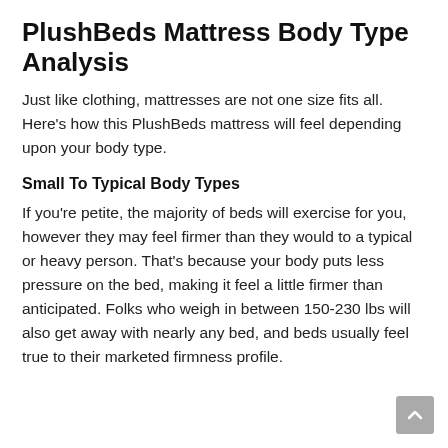PlushBeds Mattress Body Type Analysis
Just like clothing, mattresses are not one size fits all. Here's how this PlushBeds mattress will feel depending upon your body type.
Small To Typical Body Types
If you're petite, the majority of beds will exercise for you, however they may feel firmer than they would to a typical or heavy person. That's because your body puts less pressure on the bed, making it feel a little firmer than anticipated. Folks who weigh in between 150-230 lbs will also get away with nearly any bed, and beds usually feel true to their marketed firmness profile.